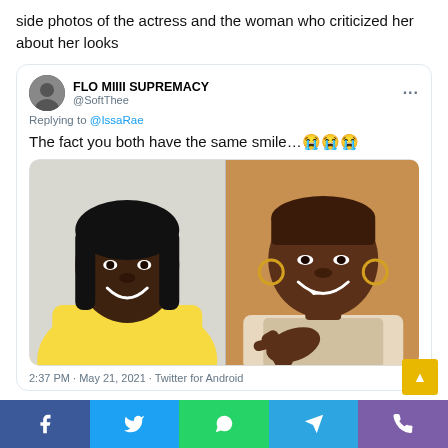side photos of the actress and the woman who criticized her about her looks
FLO MIIII SUPREMACY @SoftThee
Replying to @IssaRae
The fact you both have the same smile...😭😭😭
[Figure (photo): Side-by-side photos: left shows a woman in a yellow top with dark hair smiling; right shows a woman with braided hair and hoop earrings pointing and smiling.]
2:37 PM · May 21, 2021 · Twitter for Android
Social media share bar with icons: Facebook, Twitter, WhatsApp, Telegram, Phone